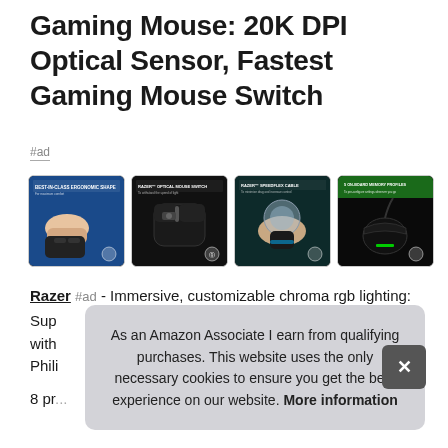Gaming Mouse: 20K DPI Optical Sensor, Fastest Gaming Mouse Switch
#ad
[Figure (photo): Four thumbnail images of a Razer gaming mouse showing ergonomic shape, optical mouse switch, SpeedFlex cable, and on-board memory profiles features.]
Razer #ad - Immersive, customizable chroma rgb lighting:
Sup... with... Phili...
8 pr...
As an Amazon Associate I earn from qualifying purchases. This website uses the only necessary cookies to ensure you get the best experience on our website. More information